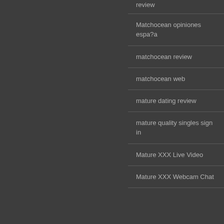review
Matchocean opiniones espa?a
matchocean review
matchocean web
mature dating review
mature quality singles sign in
Mature XXX Live Video
Mature XXX Webcam Chat